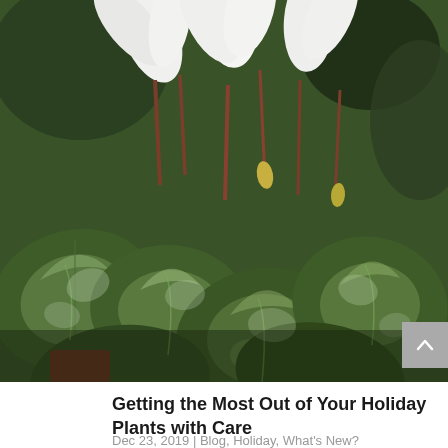[Figure (photo): Close-up photograph of a cyclamen plant with white upswept flowers and dark green patterned/marbled leaves with lighter silvery-green markings, sitting in a red pot.]
Getting the Most Out of Your Holiday Plants with Care
Dec 23, 2019 | Blog, Holiday, What's New?
There is no shortage of colorful blooms gracing